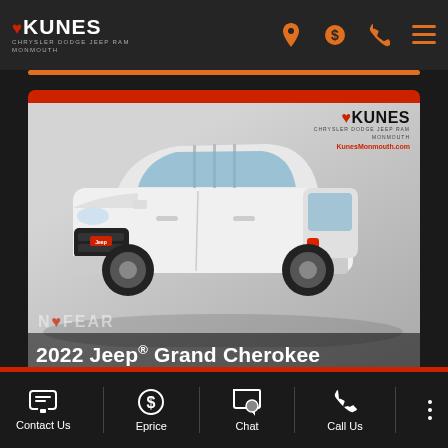Kunes Chrysler Dodge Jeep Ram Monmouth - navigation bar with logo, location, price, phone, and menu icons
[Figure (photo): White 2022 Jeep Grand Cherokee SUV displayed in a showroom-style setting with Kunes Chrysler Dodge Jeep Ram Monmouth branding and KunesMonmouth.com URL. Red top bar, gray gradient background.]
2022 Jeep® Grand Cherokee
Contact Us | Eprice | Chat | Call Us